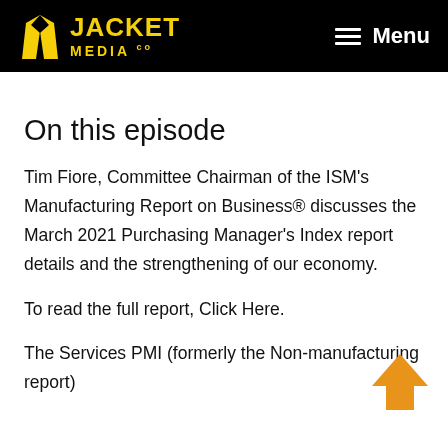JACKET MEDIA CO  Menu
On this episode
Tim Fiore, Committee Chairman of the ISM's Manufacturing Report on Business® discusses the March 2021 Purchasing Manager's Index report details and the strengthening of our economy.
To read the full report, Click Here.
The Services PMI (formerly the Non-manufacturing report)